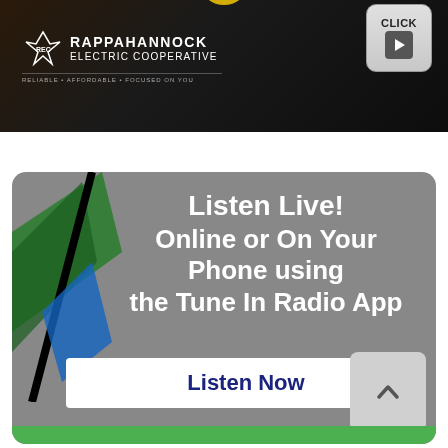[Figure (screenshot): Rappahannock Electric Cooperative logo on dark background with CLICK play button top right and yellow arc]
[Figure (screenshot): Listen Live card with gray background, decorative graphic left, text 'Listen Live! Online or On Your Phone using the Tune In Radio App', Listen Now button, scroll-up button, green bottom strip]